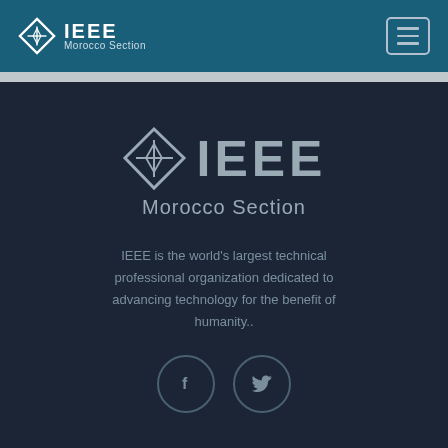IEEE Morocco Section
[Figure (logo): IEEE Morocco Section logo with diamond symbol in center of navigation bar]
[Figure (logo): Large IEEE Morocco Section logo centered on dark background]
IEEE is the world's largest technical professional organization dedicated to advancing technology for the benefit of humanity..
[Figure (infographic): Facebook and Twitter social media icon circles]